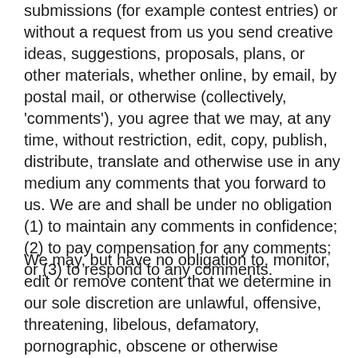submissions (for example contest entries) or without a request from us you send creative ideas, suggestions, proposals, plans, or other materials, whether online, by email, by postal mail, or otherwise (collectively, 'comments'), you agree that we may, at any time, without restriction, edit, copy, publish, distribute, translate and otherwise use in any medium any comments that you forward to us. We are and shall be under no obligation (1) to maintain any comments in confidence; (2) to pay compensation for any comments; or (3) to respond to any comments.
We may, but have no obligation to, monitor, edit or remove content that we determine in our sole discretion are unlawful, offensive, threatening, libelous, defamatory, pornographic, obscene or otherwise objectionable or violates any party's intellectual property or these Terms of Service.